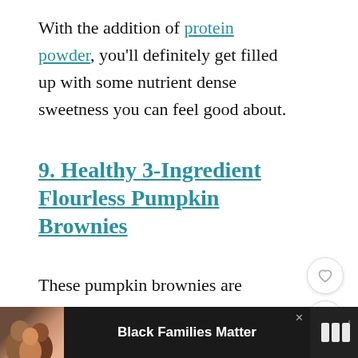With the addition of protein powder, you'll definitely get filled up with some nutrient dense sweetness you can feel good about.
9. Healthy 3-Ingredient Flourless Pumpkin Brownies
These pumpkin brownies are amazing, because they have no refined sugar, dairy eggs, or gluten. I don't love the idea— "sneaking" veggies in where they don't
[Figure (other): WHAT'S NEXT advertisement overlay with thumbnail for Gluten-free Dairy-free article]
[Figure (other): Black Families Matter advertisement banner at bottom of page with photo of smiling family]